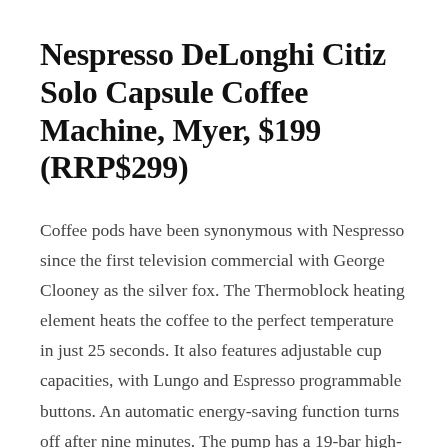Nespresso DeLonghi Citiz Solo Capsule Coffee Machine, Myer, $199 (RRP$299)
Coffee pods have been synonymous with Nespresso since the first television commercial with George Clooney as the silver fox. The Thermoblock heating element heats the coffee to the perfect temperature in just 25 seconds. It also features adjustable cup capacities, with Lungo and Espresso programmable buttons. An automatic energy-saving function turns off after nine minutes. The pump has a 19-bar high-performance pump that produces barista-quality coffee every single time, and all this at a low price. It's not surprising that this compact coffeemaker has